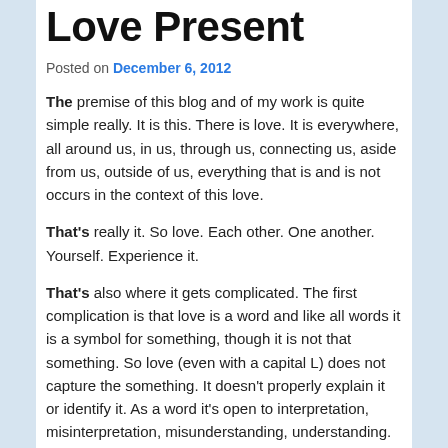Love Present
Posted on December 6, 2012
The premise of this blog and of my work is quite simple really.  It is this.  There is love.  It is everywhere, all around us, in us, through us, connecting us, aside from us, outside of us, everything that is and is not occurs in the context of this love.
That's really it.  So love.  Each other.  One another.  Yourself.  Experience it.
That's also where it gets complicated.  The first complication is that love is a word and like all words it is a symbol for something, though it is not that something.  So love (even with a capital L) does not capture the something.  It doesn't properly explain it or identify it.  As a word it's open to interpretation, misinterpretation, misunderstanding, understanding.  Due to this complication I call it Truth/Love/Aletheia.  Aletheia may be